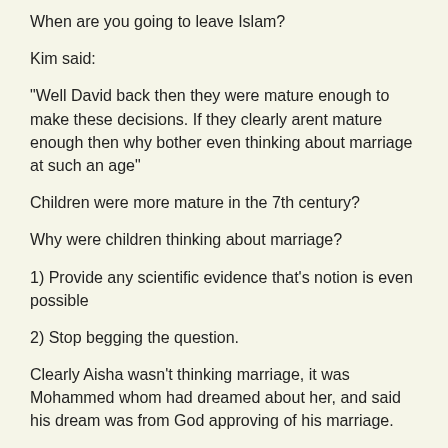When are you going to leave Islam?
Kim said:
"Well David back then they were mature enough to make these decisions. If they clearly arent mature enough then why bother even thinking about marriage at such an age"
Children were more mature in the 7th century?
Why were children thinking about marriage?
1) Provide any scientific evidence that's notion is even possible
2) Stop begging the question.
Clearly Aisha wasn't thinking marriage, it was Mohammed whom had dreamed about her, and said his dream was from God approving of his marriage.
Abu Baker initially was going his to be...